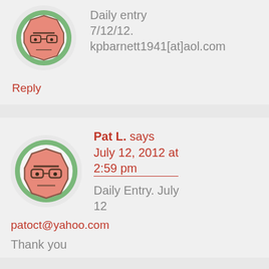[Figure (illustration): Avatar icon: cartoon face octagon shape with green border, salmon/pink color, wearing glasses, neutral expression]
Daily entry 7/12/12. kpbarnett1941[at]aol.com
Reply
[Figure (illustration): Avatar icon: cartoon face octagon shape with green border, salmon/pink color, wearing glasses, neutral expression]
Pat L. says July 12, 2012 at 2:59 pm
Daily Entry. July 12
patoct@yahoo.com
Thank you